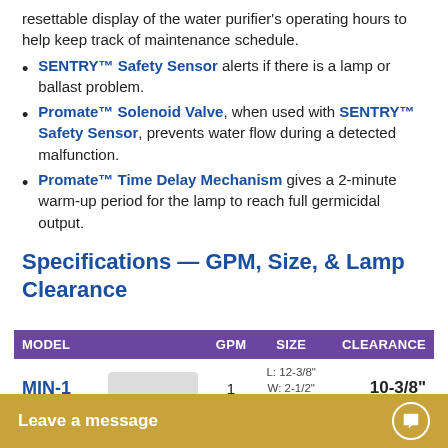resettable display of the water purifier's operating hours to help keep track of maintenance schedule.
SENTRY™ Safety Sensor alerts if there is a lamp or ballast problem.
Promate™ Solenoid Valve, when used with SENTRY™ Safety Sensor, prevents water flow during a detected malfunction.
Promate™ Time Delay Mechanism gives a 2-minute warm-up period for the lamp to reach full germicidal output.
Specifications — GPM, Size, & Lamp Clearance
| MODEL | GPM | SIZE | CLEARANCE |
| --- | --- | --- | --- |
| MIN-1 | 1 | L: 12-3/8"
W: 2-1/2"
H: 3" | 10-3/8" |
| MIN-1.5 |  |  |  |
Leave a message